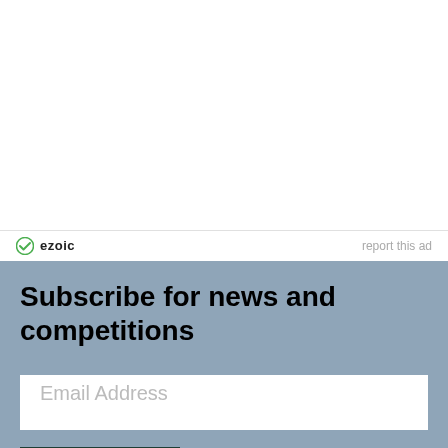[Figure (logo): Ezoic logo with green circular icon and 'ezoic' text, plus 'report this ad' text on the right]
Subscribe for news and competitions
Email Address
Subscribe
Read next